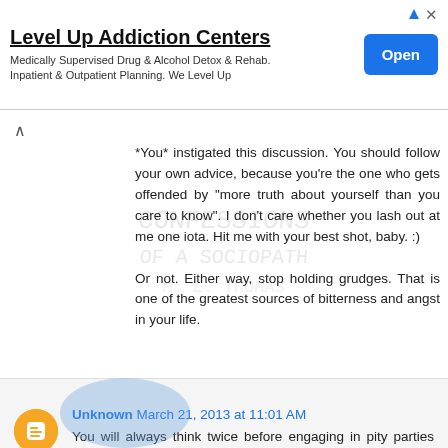[Figure (screenshot): Advertisement banner for Level Up Addiction Centers with Open button]
*You* instigated this discussion. You should follow your own advice, because you're the one who gets offended by "more truth about yourself than you care to know". I don't care whether you lash out at me one iota. Hit me with your best shot, baby. :)

Or not. Either way, stop holding grudges. That is one of the greatest sources of bitterness and angst in your life.
Unknown March 21, 2013 at 11:01 AM
You will always think twice before engaging in pity parties when I am around.